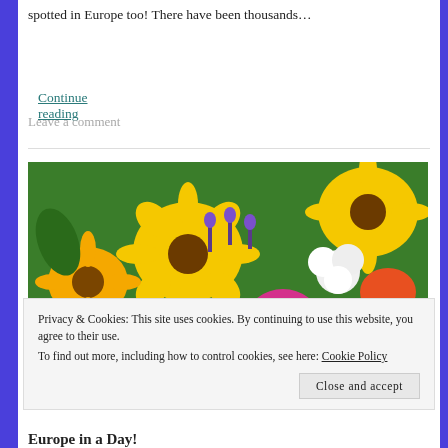spotted in Europe too! There have been thousands…
Continue reading
Leave a comment
[Figure (photo): Colorful flower arrangement with yellow sunflowers, pink cosmos, purple lavender, white fluffy flowers, and orange flowers.]
Privacy & Cookies: This site uses cookies. By continuing to use this website, you agree to their use.
To find out more, including how to control cookies, see here: Cookie Policy
Close and accept
Europe in a Day!